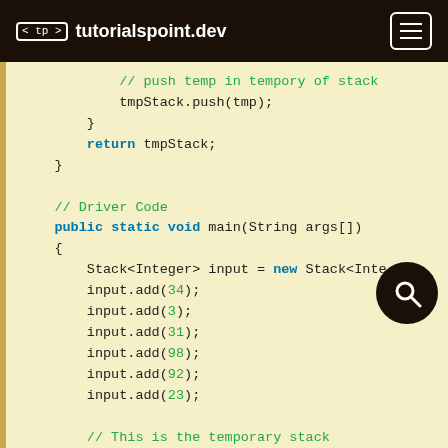< tp > tutorialspoint.dev
[Figure (screenshot): Java code snippet showing a sortstack method continuation, Driver Code section with stack input values and temporary stack creation.]